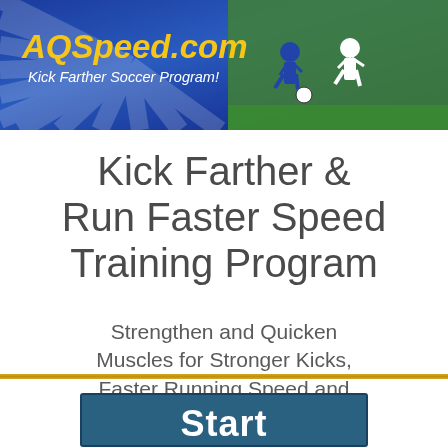[Figure (illustration): Banner header with blue gradient background and sunray lines. Left side shows 'AQSpeed.com' in gold italic bold text and 'Kick Farther Soccer Program!' in white italic below. Right side shows a photo of soccer players in action on a green field.]
Kick Farther & Run Faster Speed Training Program
Strengthen and Quicken Muscles for Stronger Kicks, Faster Running Speed and Lateral Quickness
[Figure (illustration): Partial view of a teal/dark blue button with bold white text reading 'Start']